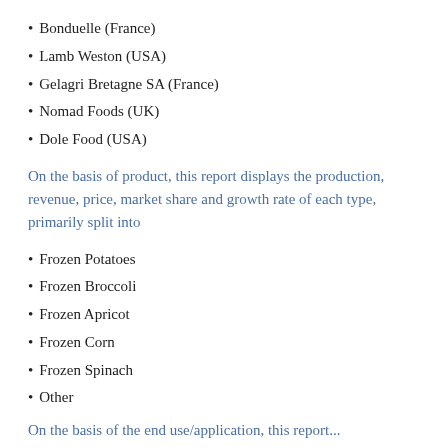Bonduelle (France)
Lamb Weston (USA)
Gelagri Bretagne SA (France)
Nomad Foods (UK)
Dole Food (USA)
On the basis of product, this report displays the production, revenue, price, market share and growth rate of each type, primarily split into
Frozen Potatoes
Frozen Broccoli
Frozen Apricot
Frozen Corn
Frozen Spinach
Other
On the basis of the end use/application, this report...